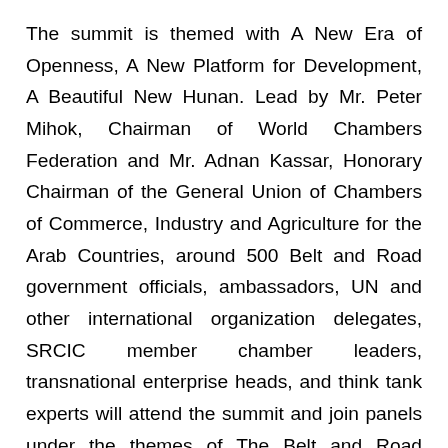The summit is themed with A New Era of Openness, A New Platform for Development, A Beautiful New Hunan. Lead by Mr. Peter Mihok, Chairman of World Chambers Federation and Mr. Adnan Kassar, Honorary Chairman of the General Union of Chambers of Commerce, Industry and Agriculture for the Arab Countries, around 500 Belt and Road government officials, ambassadors, UN and other international organization delegates, SRCIC member chamber leaders, transnational enterprise heads, and think tank experts will attend the summit and join panels under the themes of The Belt and Road International Cooperation Platform in the New Era, Building Up A New World through Cultural Exchanges and Tourism Development, and some more.